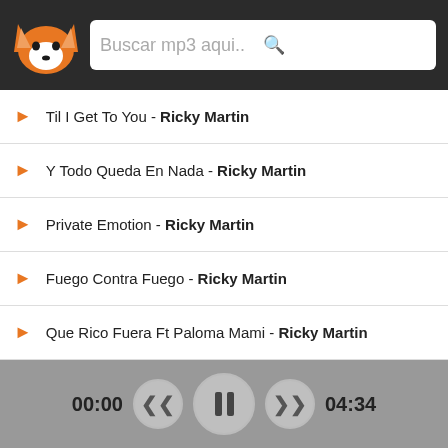[Figure (screenshot): App header with fox logo and search bar showing 'Buscar mp3 aqui..']
Til I Get To You - Ricky Martin
Y Todo Queda En Nada - Ricky Martin
Private Emotion - Ricky Martin
Fuego Contra Fuego - Ricky Martin
Que Rico Fuera Ft Paloma Mami - Ricky Martin
Dejate Llevar Its Alright - Ricky Martin
Bella Shes All I Ever Had - Ricky Martin
No Importa La Distancia - Ricky Martin
Jaleo - Ricky Martin
[Figure (screenshot): Media player controls with time 00:00 and 04:34, rewind, pause, and fast-forward buttons]